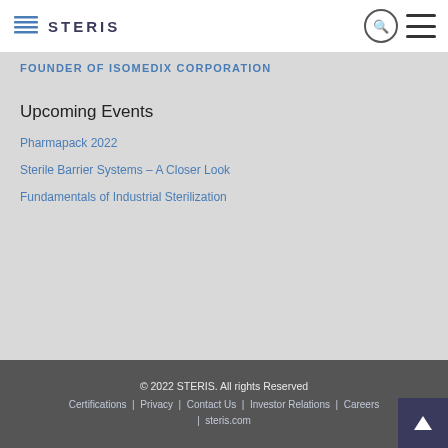STERIS
FOUNDER OF ISOMEDIX CORPORATION
Upcoming Events
Pharmapack 2022
Sterile Barrier Systems – A Closer Look
Fundamentals of Industrial Sterilization
© 2022 STERIS. All rights Reserved Certifications | Privacy | Contact Us | Investor Relations | Careers | steris.com